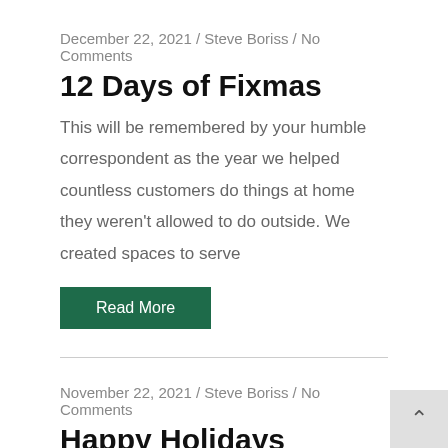December 22, 2021 / Steve Boriss / No Comments
12 Days of Fixmas
This will be remembered by your humble correspondent as the year we helped countless customers do things at home they weren't allowed to do outside. We created spaces to serve
Read More
November 22, 2021 / Steve Boriss / No Comments
Happy Holidays
What says “Christmas” more than a gift of home re and improvements? Yeah, other than that. Or that. OK, OK I get your point. And yeah, you can’t use it